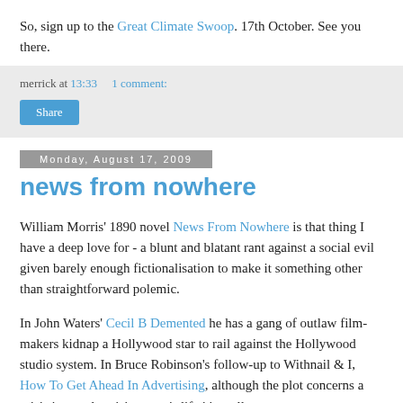So, sign up to the Great Climate Swoop. 17th October. See you there.
merrick at 13:33    1 comment:
Share
Monday, August 17, 2009
news from nowhere
William Morris' 1890 novel News From Nowhere is that thing I have a deep love for - a blunt and blatant rant against a social evil given barely enough fictionalisation to make it something other than straightforward polemic.
In John Waters' Cecil B Demented he has a gang of outlaw film-makers kidnap a Hollywood star to rail against the Hollywood studio system. In Bruce Robinson's follow-up to Withnail & I, How To Get Ahead In Advertising, although the plot concerns a crisis in an advertising exec's life it's really